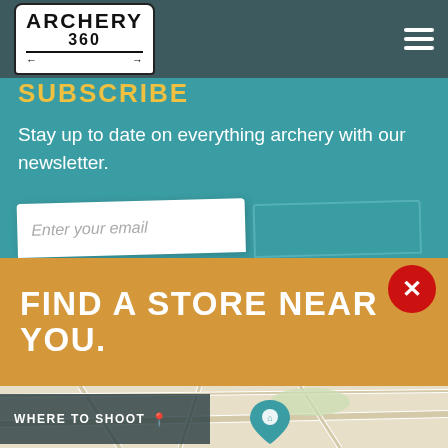[Figure (logo): Archery 360 logo in white box with dark border, arrows beneath text]
SUBSCRIBE
Stay up to date on everything archery with our newsletter.
[Figure (screenshot): Email input field with placeholder 'Enter your email' and a teal button beside it]
FIND A STORE NEAR YOU.
[Figure (map): Street map showing roads and a teal location pin with a house icon]
WHERE TO SHOOT